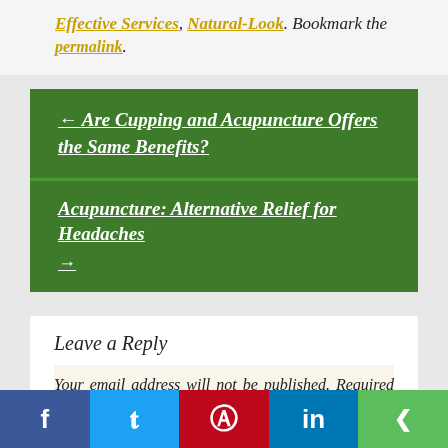Effective Services, Natural-Look. Bookmark the permalink.
← Are Cupping and Acupuncture Offers the Same Benefits?
Acupuncture: Alternative Relief for Headaches →
Leave a Reply
Your email address will not be published. Required fields are marked *